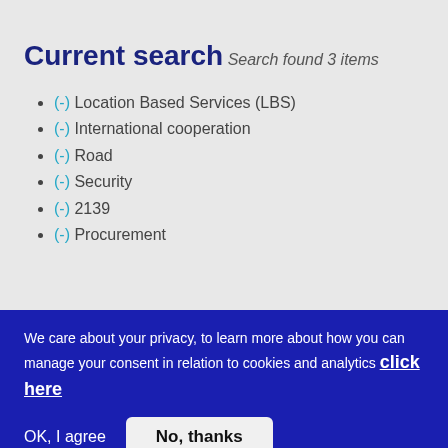Current search
Search found 3 items
(-) Location Based Services (LBS)
(-) International cooperation
(-) Road
(-) Security
(-) 2139
(-) Procurement
We care about your privacy, to learn more about how you can manage your consent in relation to cookies and analytics click here
OK, I agree   No, thanks